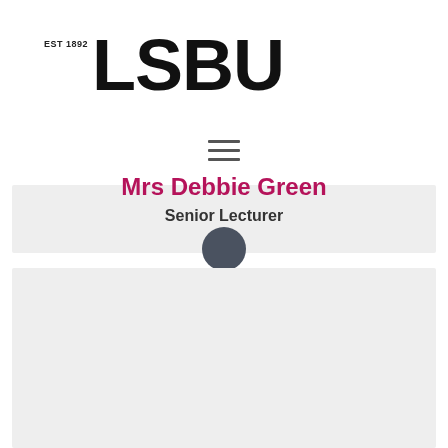[Figure (logo): LSBU logo with EST 1892 text and bold LSBU wordmark]
[Figure (other): Hamburger menu icon with three horizontal lines]
[Figure (photo): Generic user profile avatar icon (person silhouette) in dark grey on light grey background]
Mrs Debbie Green
Senior Lecturer